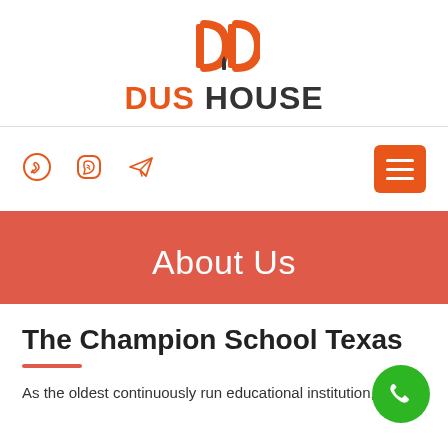[Figure (logo): DUS HOUSE logo with orange D icon and text 'DUS HOUSE' where DUS is orange and HOUSE is dark/black]
[Figure (infographic): Navigation bar with WhatsApp, Viber, Telegram icons in orange on left and orange hamburger menu button on right]
About Us
The Champion School Texas
As the oldest continuously run educational institution, The